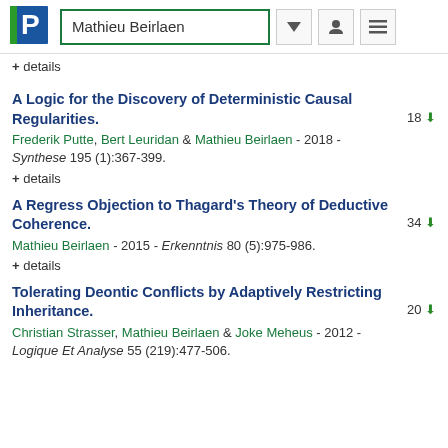Mathieu Beirlaen
+ details
A Logic for the Discovery of Deterministic Causal Regularities.
Frederik Putte, Bert Leuridan & Mathieu Beirlaen - 2018 - Synthese 195 (1):367-399.
+ details
A Regress Objection to Thagard's Theory of Deductive Coherence.
Mathieu Beirlaen - 2015 - Erkenntnis 80 (5):975-986.
+ details
Tolerating Deontic Conflicts by Adaptively Restricting Inheritance.
Christian Strasser, Mathieu Beirlaen & Joke Meheus - 2012 - Logique Et Analyse 55 (219):477-506.